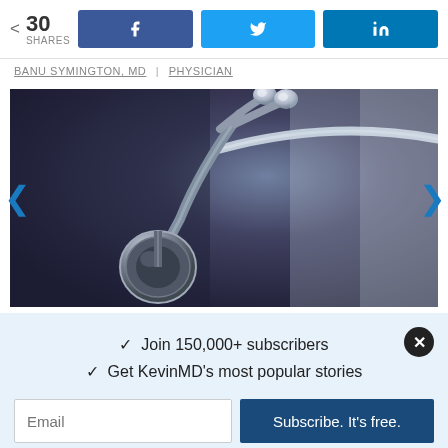30 SHARES | Facebook | Twitter | LinkedIn
BANU SYMINGTON, MD | PHYSICIAN
[Figure (photo): Close-up photograph of a stethoscope on a dark blue-gray surface, with earpieces and tubing visible]
✓ Join 150,000+ subscribers
✓ Get KevinMD's most popular stories
Email | Subscribe. It's free.